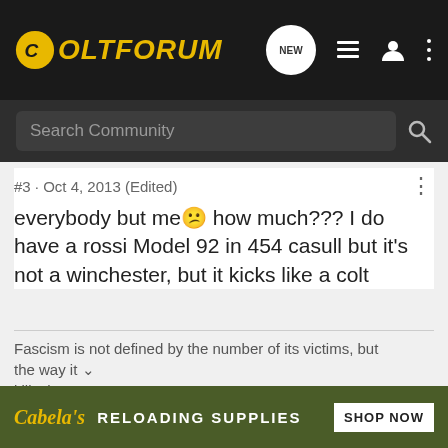ColtForum
Search Community
#3 · Oct 4, 2013 (Edited)
everybody but me 🙁 how much??? I do have a rossi Model 92 in 454 casull but it's not a winchester, but it kicks like a colt
Fascism is not defined by the number of its victims, but the way it kills them. J.P. Sartre
[Figure (other): Cabelas Reloading Supplies advertisement banner with shop now button]